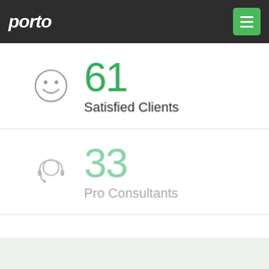porto
61 Satisfied Clients
33 Pro Consultants
- Expertises